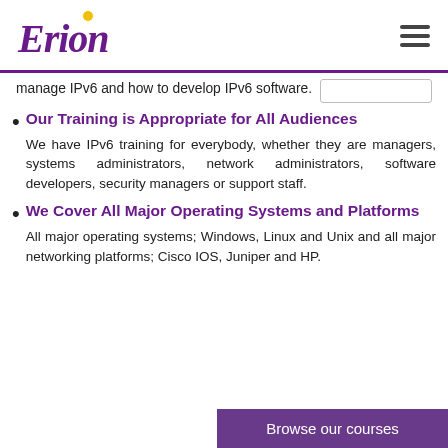[Figure (logo): Erion company logo in purple italic font with a yellow dot above the 'i']
manage IPv6 and how to develop IPv6 software.
Our Training is Appropriate for All Audiences
We have IPv6 training for everybody, whether they are managers, systems administrators, network administrators, software developers, security managers or support staff.
We Cover All Major Operating Systems and Platforms
All major operating systems; Windows, Linux and Unix and all major networking platforms; Cisco IOS, Juniper and HP.
Browse our courses